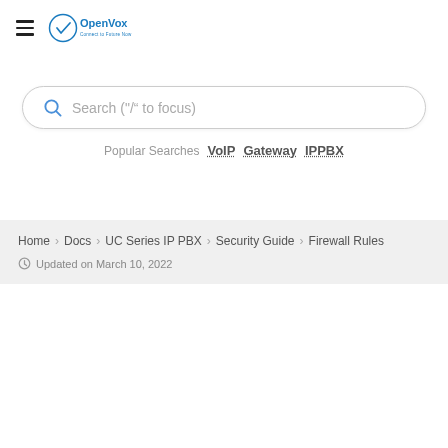[Figure (logo): OpenVox logo with hamburger menu icon. Logo shows a circular V-checkmark icon in blue with 'OpenVox' text and tagline 'Connect to Future Now']
Search ("/" to focus)
Popular Searches VoIP Gateway IPPBX
Home > Docs > UC Series IP PBX > Security Guide > Firewall Rules
Updated on March 10, 2022